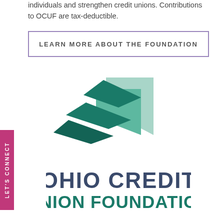individuals and strengthen credit unions. Contributions to OCUF are tax-deductible.
LEARN MORE ABOUT THE FOUNDATION
[Figure (logo): Ohio Credit Union Foundation logo: three layered arrow/chevron shapes in teal and green pointing right, above the text OHIO CREDIT UNION FOUNDATION]
LET'S CONNECT